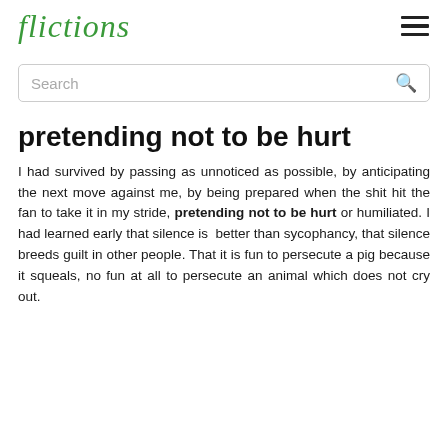flictions
pretending not to be hurt
I had survived by passing as unnoticed as possible, by anticipating the next move against me, by being prepared when the shit hit the fan to take it in my stride, pretending not to be hurt or humiliated. I had learned early that silence is better than sycophancy, that silence breeds guilt in other people. That it is fun to persecute a pig because it squeals, no fun at all to persecute an animal which does not cry out.